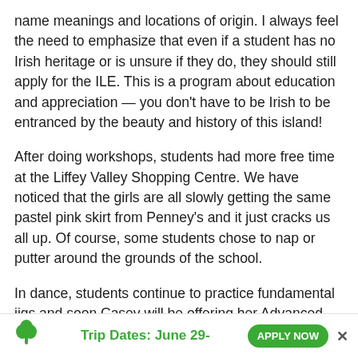name meanings and locations of origin. I always feel the need to emphasize that even if a student has no Irish heritage or is unsure if they do, they should still apply for the ILE. This is a program about education and appreciation — you don't have to be Irish to be entranced by the beauty and history of this island!
After doing workshops, students had more free time at the Liffey Valley Shopping Centre. We have noticed that the girls are all slowly getting the same pastel pink skirt from Penney's and it just cracks us all up. Of course, some students chose to nap or putter around the grounds of the school.
In dance, students continue to practice fundamental jigs and soon Casey will be offering her Advanced Irish Dance workshop. We have some really talented kids this year in particular and the staff are so glad they've been having fun
Trip Dates: June 29-   APPLY NOW   ×